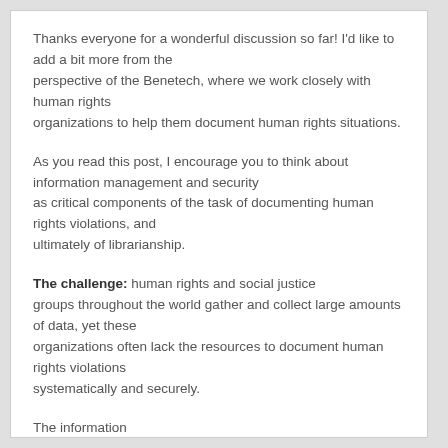Thanks everyone for a wonderful discussion so far! I'd like to add a bit more from the perspective of the Benetech, where we work closely with human rights organizations to help them document human rights situations.
As you read this post, I encourage you to think about information management and security as critical components of the task of documenting human rights violations, and ultimately of librarianship.
The challenge: human rights and social justice groups throughout the world gather and collect large amounts of data, yet these organizations often lack the resources to document human rights violations systematically and securely.
The information gathered by these groups was done so at great risk to themselves and to those whose stories they document, but it remains on paper or in